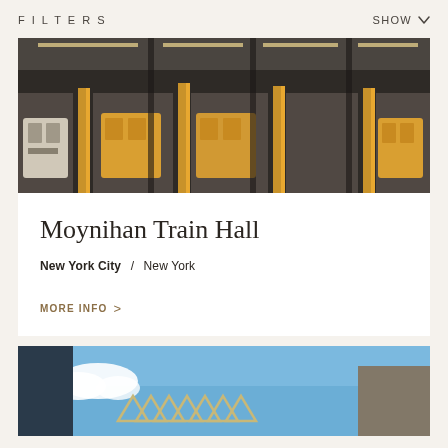FILTERS   SHOW
[Figure (photo): Overhead view of train platforms at Moynihan Train Hall with trains and passengers]
Moynihan Train Hall
New York City  /  New York
MORE INFO >
[Figure (photo): Exterior architectural view of building with zigzag roof structure against blue sky]